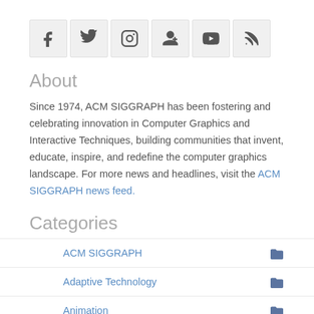[Figure (other): Row of 6 social media icon buttons: Facebook, Twitter, Instagram, Google+, YouTube, RSS feed]
About
Since 1974, ACM SIGGRAPH has been fostering and celebrating innovation in Computer Graphics and Interactive Techniques, building communities that invent, educate, inspire, and redefine the computer graphics landscape. For more news and headlines, visit the ACM SIGGRAPH news feed.
Categories
ACM SIGGRAPH
Adaptive Technology
Animation
Art